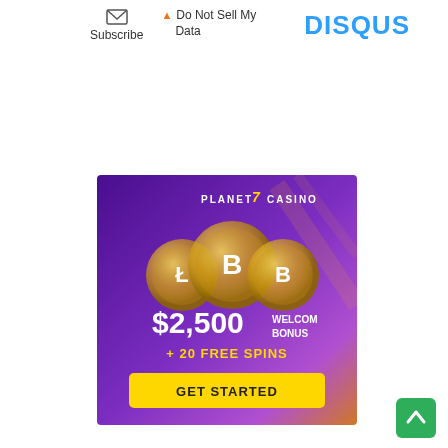Subscribe | Do Not Sell My Data | DISQUS
[Figure (illustration): Planet 7 Casino advertisement banner with purple gradient background, three gold cryptocurrency coins, text '$2,500 WELCOME BONUS + 20 FREE SPINS', and a yellow 'GET STARTED' button]
[Figure (other): Green scroll-to-top button with upward chevron arrow in bottom right corner]